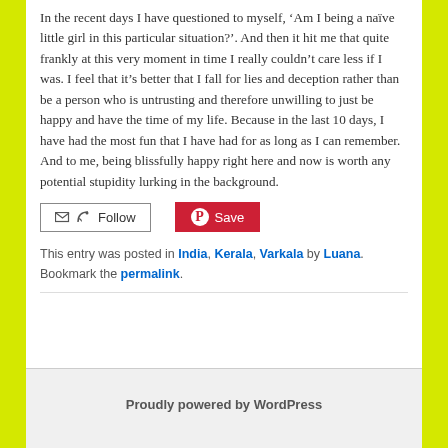In the recent days I have questioned to myself, ‘Am I being a naïve little girl in this particular situation?’. And then it hit me that quite frankly at this very moment in time I really couldn’t care less if I was. I feel that it’s better that I fall for lies and deception rather than be a person who is untrusting and therefore unwilling to just be happy and have the time of my life. Because in the last 10 days, I have had the most fun that I have had for as long as I can remember. And to me, being blissfully happy right here and now is worth any potential stupidity lurking in the background.
This entry was posted in India, Kerala, Varkala by Luana. Bookmark the permalink.
Proudly powered by WordPress